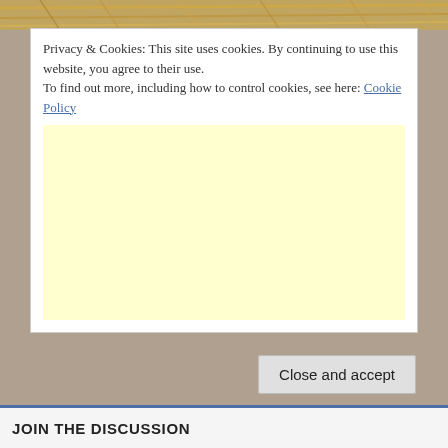[Figure (photo): Partial photo of straw/hay texture visible at top of page]
Privacy & Cookies: This site uses cookies. By continuing to use this website, you agree to their use.
To find out more, including how to control cookies, see here: Cookie Policy
[Figure (other): Large light yellow advertisement placeholder box]
Close and accept
JOIN THE DISCUSSION